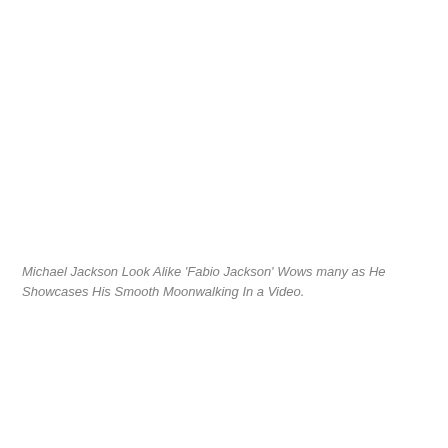Michael Jackson Look Alike 'Fabio Jackson' Wows many as He Showcases His Smooth Moonwalking In a Video.